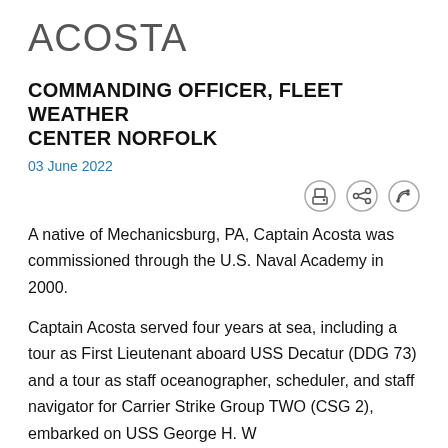ACOSTA
COMMANDING OFFICER, FLEET WEATHER CENTER NORFOLK
03 June 2022
[Figure (infographic): Row of three circular icon buttons: print, share, and RSS feed icons]
A native of Mechanicsburg, PA, Captain Acosta was commissioned through the U.S. Naval Academy in 2000.
Captain Acosta served four years at sea, including a tour as First Lieutenant aboard USS Decatur (DDG 73) and a tour as staff oceanographer, scheduler, and staff navigator for Carrier Strike Group TWO (CSG 2), embarked on USS George H. W